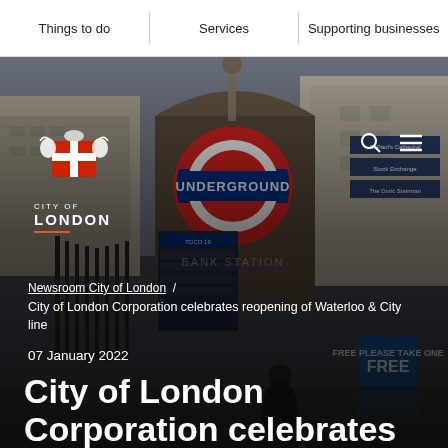Things to do  |  Services  |  Supporting businesses
[Figure (photo): Bank Station London Underground entrance with the circular red and blue Underground roundel sign, street signage, and people outside. City of London Corporation logo (crest and text) visible in top left. Search and hamburger menu icons visible top right.]
Newsroom City of London  /  City of London Corporation celebrates reopening of Waterloo & City line
07 January 2022
City of London Corporation celebrates reopening of Waterloo & City line